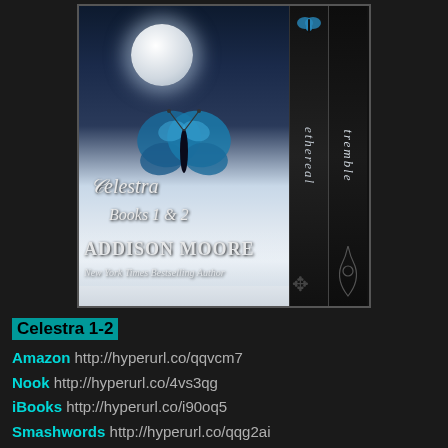[Figure (photo): Book cover image for 'Celestra Books 1 & 2' by Addison Moore, New York Times Bestselling Author. Shows a dark night sky with a full moon, a blue butterfly, and clouds. Two book spines on the right read 'ethereal' and 'tremble'.]
Celestra 1-2
Amazon http://hyperurl.co/qqvcm7
Nook http://hyperurl.co/4vs3qg
iBooks http://hyperurl.co/i90oq5
Smashwords http://hyperurl.co/qqg2ai